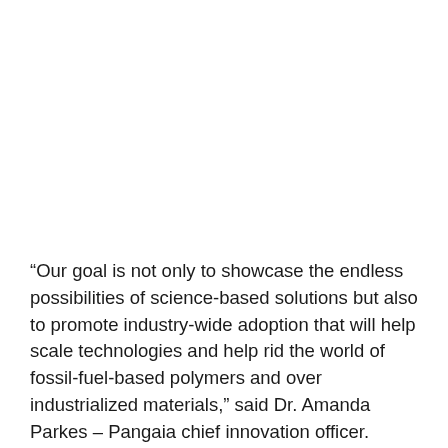“Our goal is not only to showcase the endless possibilities of science-based solutions but also to promote industry-wide adoption that will help scale technologies and help rid the world of fossil-fuel-based polymers and over industrialized materials,” said Dr. Amanda Parkes – Pangaia chief innovation officer.